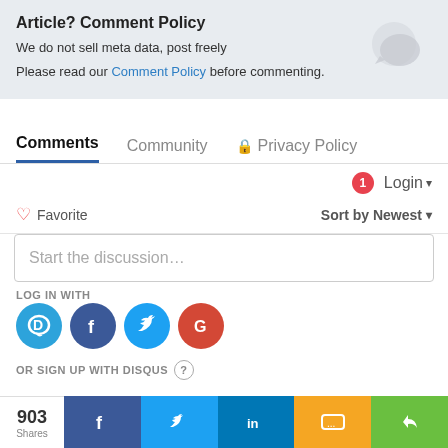Article? Comment Policy
We do not sell meta data, post freely
Please read our Comment Policy before commenting.
Comments   Community   Privacy Policy
1  Login
Favorite   Sort by Newest
Start the discussion…
LOG IN WITH
[Figure (logo): Social login icons: Disqus (D), Facebook (f), Twitter bird, Google (G)]
OR SIGN UP WITH DISQUS ?
903 Shares  f  tweet  in  message  share